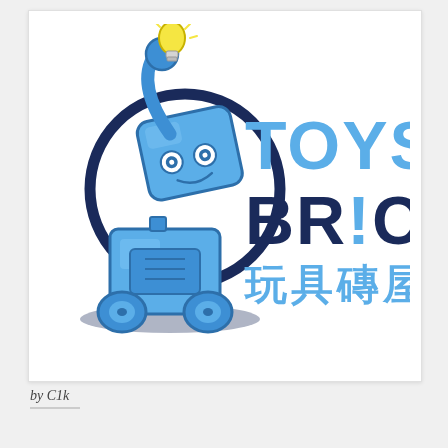[Figure (logo): Toys Brick (玩具磚屋) logo featuring a blue cartoon robot character with a lightbulb head on wheels, next to bold text 'TOYS BRICK' in light blue and dark navy, with Chinese characters '玩具磚屋' in blue below.]
by C1k